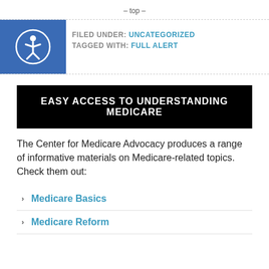– top –
FILED UNDER: UNCATEGORIZED
TAGGED WITH: FULL ALERT
EASY ACCESS TO UNDERSTANDING MEDICARE
The Center for Medicare Advocacy produces a range of informative materials on Medicare-related topics. Check them out:
Medicare Basics
Medicare Reform